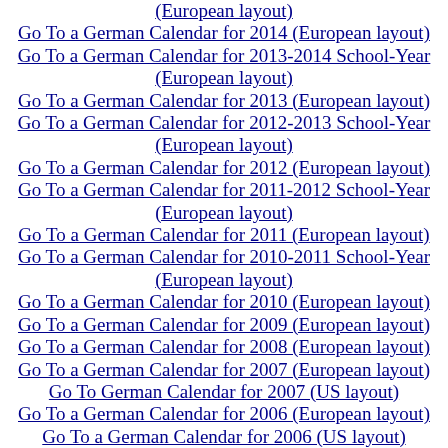Go To a German Calendar for 2014 (European layout)
Go To a German Calendar for 2013-2014 School-Year (European layout)
Go To a German Calendar for 2013 (European layout)
Go To a German Calendar for 2012-2013 School-Year (European layout)
Go To a German Calendar for 2012 (European layout)
Go To a German Calendar for 2011-2012 School-Year (European layout)
Go To a German Calendar for 2011 (European layout)
Go To a German Calendar for 2010-2011 School-Year (European layout)
Go To a German Calendar for 2010 (European layout)
Go To a German Calendar for 2009 (European layout)
Go To a German Calendar for 2008 (European layout)
Go To a German Calendar for 2007 (European layout)
Go To German Calendar for 2007 (US layout)
Go To a German Calendar for 2006 (European layout)
Go To a German Calendar for 2006 (US layout)
Go To a German Calendar for 2005 (US or European layout)